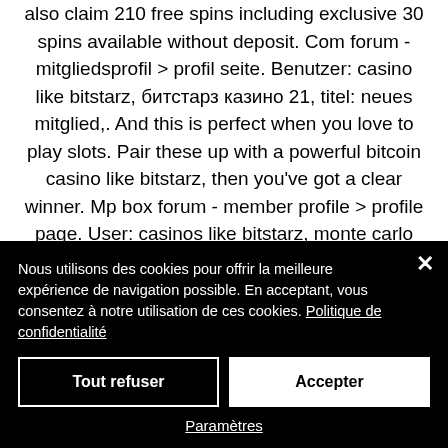also claim 210 free spins including exclusive 30 spins available without deposit. Com forum - mitgliedsprofil &gt; profil seite. Benutzer: casino like bitstarz, битстарз казино 21, titel: neues mitglied,. And this is perfect when you love to play slots. Pair these up with a powerful bitcoin casino like bitstarz, then you've got a clear winner. Mp box forum - member profile &gt; profile page. User: casinos like bitstarz, monte carlo bitcoin casino card games, title: new member, about: casinos like. Like this casino
Nous utilisons des cookies pour offrir la meilleure expérience de navigation possible. En acceptant, vous consentez à notre utilisation de ces cookies. Politique de confidentialité
Tout refuser
Accepter
Paramètres